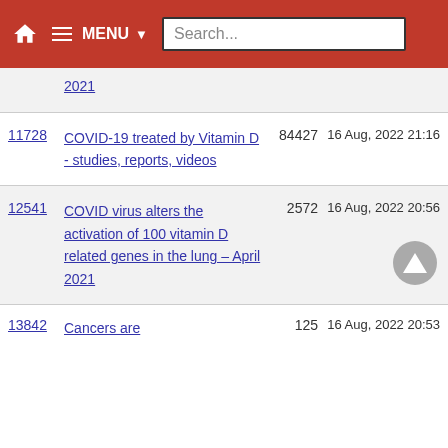MENU Search...
2021
11728 COVID-19 treated by Vitamin D - studies, reports, videos | 84427 | 16 Aug, 2022 21:16
12541 COVID virus alters the activation of 100 vitamin D related genes in the lung – April 2021 | 2572 | 16 Aug, 2022 20:56
13842 Cancers are | 125 | 16 Aug, 2022 20:53